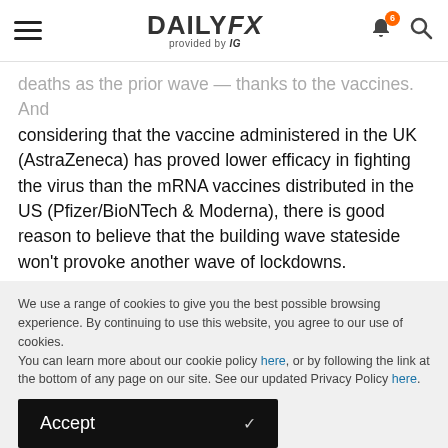DAILYFX provided by IG
deaths as the prior wave — thanks to the vaccines. And considering that the vaccine administered in the UK (AstraZeneca) has proved lower efficacy in fighting the virus than the mRNA vaccines distributed in the US (Pfizer/BioNTech & Moderna), there is good reason to believe that the building wave stateside won't provoke another wave of lockdowns.
Perhaps equally important, we're currently in one of the more volatile periods of the cycle. According to the Stock
We use a range of cookies to give you the best possible browsing experience. By continuing to use this website, you agree to our use of cookies.
You can learn more about our cookie policy here, or by following the link at the bottom of any page on our site. See our updated Privacy Policy here.
Accept